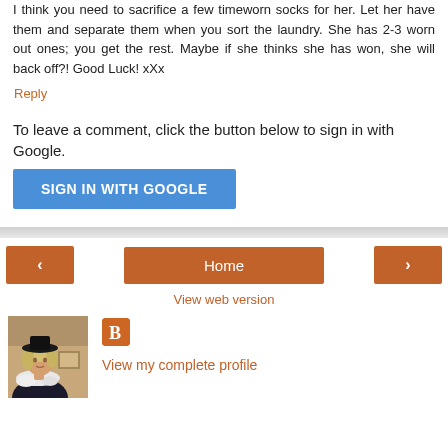I think you need to sacrifice a few timeworn socks for her. Let her have them and separate them when you sort the laundry. She has 2-3 worn out ones; you get the rest. Maybe if she thinks she has won, she will back off?! Good Luck! xXx
Reply
To leave a comment, click the button below to sign in with Google.
[Figure (other): SIGN IN WITH GOOGLE button (blue)]
[Figure (other): Navigation bar with left arrow, Home, and right arrow buttons in orange-brown]
View web version
[Figure (photo): Profile photo of a woman with blonde hair wearing a black hat and white feather boa]
[Figure (logo): Blogger icon - orange square with white B]
View my complete profile